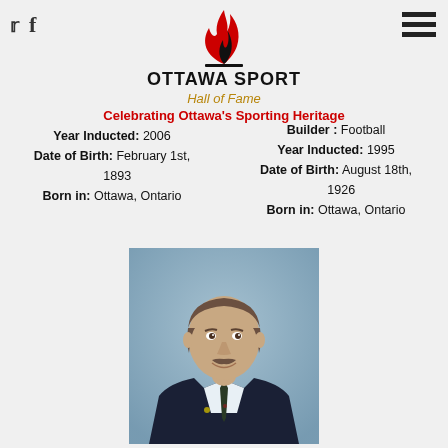Ottawa Sport Hall of Fame — Celebrating Ottawa's Sporting Heritage
Year Inducted: 2006
Date of Birth: February 1st, 1893
Born in: Ottawa, Ontario
Builder : Football
Year Inducted: 1995
Date of Birth: August 18th, 1926
Born in: Ottawa, Ontario
[Figure (photo): Portrait photo of a middle-aged man in a dark suit with tie, smiling, grey-blue background]